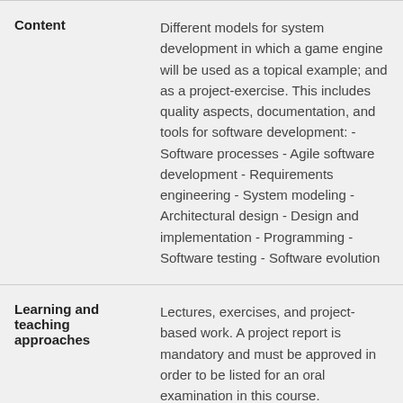| Field | Description |
| --- | --- |
| Content | Different models for system development in which a game engine will be used as a topical example; and as a project-exercise. This includes quality aspects, documentation, and tools for software development: - Software processes - Agile software development - Requirements engineering - System modeling - Architectural design - Design and implementation - Programming - Software testing - Software evolution |
| Learning and teaching approaches | Lectures, exercises, and project-based work. A project report is mandatory and must be approved in order to be listed for an oral examination in this course. |